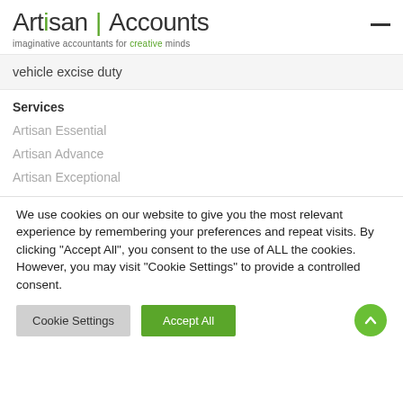Artisan | Accounts — imaginative accountants for creative minds
vehicle excise duty
Services
Artisan Essential
Artisan Advance
Artisan Exceptional
We use cookies on our website to give you the most relevant experience by remembering your preferences and repeat visits. By clicking "Accept All", you consent to the use of ALL the cookies. However, you may visit "Cookie Settings" to provide a controlled consent.